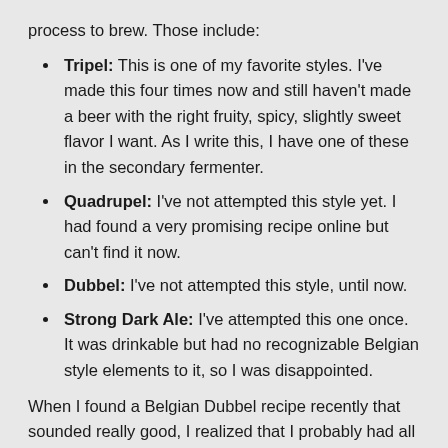process to brew.  Those include:
Tripel:  This is one of my favorite styles.  I've made this four times now and still haven't made a beer with the right fruity, spicy, slightly sweet flavor I want.  As I write this, I have one of these in the secondary fermenter.
Quadrupel:  I've not attempted this style yet.  I had found a very promising recipe online but can't find it now.
Dubbel:  I've not attempted this style, until now.
Strong Dark Ale:  I've attempted this one once.  It was drinkable but had no recognizable Belgian style elements to it, so I was disappointed.
When I found a Belgian Dubbel recipe recently that sounded really good, I realized that I probably had all the ingredients I needed except for yeast, and that was actually on order from Midwest Supplies.  A few days later, the yeast arrived along with